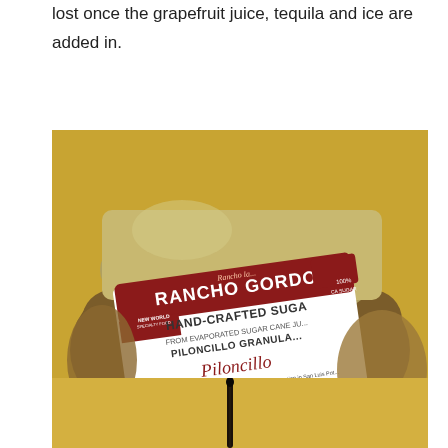lost once the grapefruit juice, tequila and ice are added in.
[Figure (photo): A bag of Rancho Gordo Hand-Crafted Sugar, Piloncillo Granulated, showing the product label with text about sugar cane from the indigenous Teenek nation in San Luis Potosi, Mexico. The label shows RANCHO GORDO branding and Piloncillo in cursive script. The brown granulated sugar is visible. The package is photographed on a golden/yellow background.]
[Figure (photo): A vanilla bean pod photographed on a golden/yellow background, partially visible at the bottom of the page.]